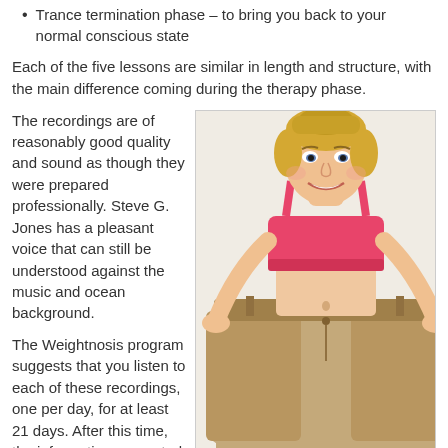Trance termination phase – to bring you back to your normal conscious state
Each of the five lessons are similar in length and structure, with the main difference coming during the therapy phase.
The recordings are of reasonably good quality and sound as though they were prepared professionally. Steve G. Jones has a pleasant voice that can still be understood against the music and ocean background.
[Figure (photo): A smiling blonde woman in a pink sports bra holding out oversized khaki pants to show weight loss]
The Weightnosis program suggests that you listen to each of these recordings, one per day, for at least 21 days. After this time, the information presented